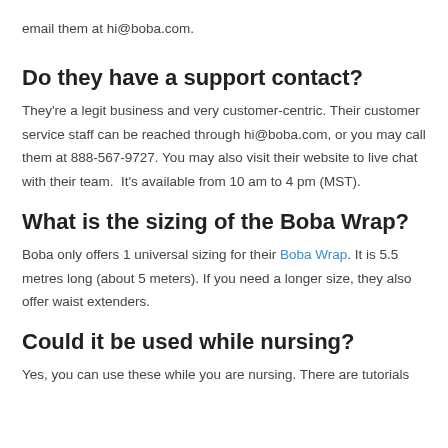email them at hi@boba.com.
Do they have a support contact?
They're a legit business and very customer-centric. Their customer service staff can be reached through hi@boba.com, or you may call them at 888-567-9727. You may also visit their website to live chat with their team.  It's available from 10 am to 4 pm (MST).
What is the sizing of the Boba Wrap?
Boba only offers 1 universal sizing for their Boba Wrap. It is 5.5 metres long (about 5 meters). If you need a longer size, they also offer waist extenders.
Could it be used while nursing?
Yes, you can use these while you are nursing. There are tutorials